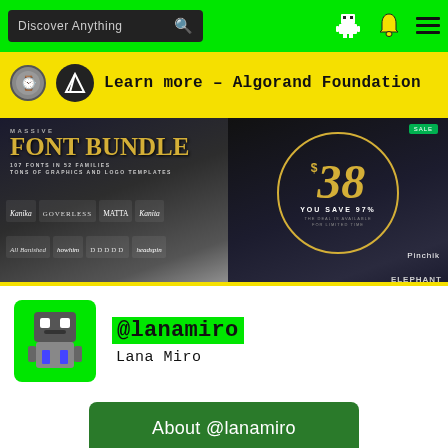Discover Anything
[Figure (screenshot): Yellow banner advertisement: Learn more - Algorand Foundation with coin and logo icons]
[Figure (illustration): Left: Massive Font Bundle promotional image - 107 fonts in 52 families, tons of graphics and logo templates. Right: $38 price in gold circle on dark background, You Save 97%, The deal is available for limited time. Pinchik and Elephant logos.]
@lanamiro
Lana Miro
About @lanamiro